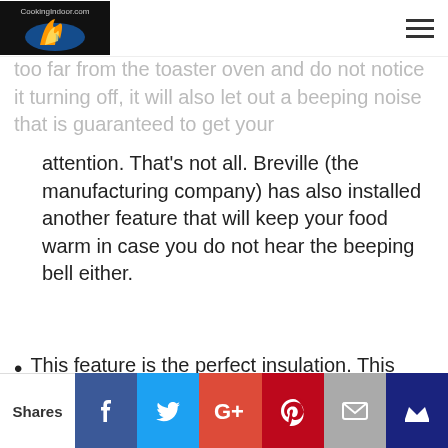CookingIndoor.com
attention. That's not all. Breville (the manufacturing company) has also installed another feature that will keep your food warm in case you do not hear the beeping bell either.
This feature is the perfect insulation. This implies that no hot air inside the appliance will be able to escape through the surfaces, which will in turn keep your meal warm until you're ready to retrieve it.
This website uses cookies to improve your experience. We'll assume you're ok with this, but you can opt-out if you wish.
Accept   Read More
Shares  [Facebook] [Twitter] [Google+] [Pinterest] [Email] [Other]